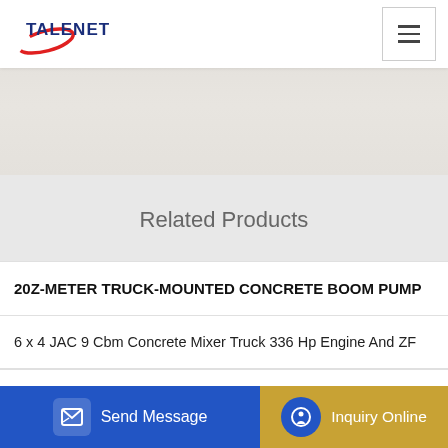TALENET
[Figure (photo): Hero banner image area with textured background]
Related Products
20Z-METER TRUCK-MOUNTED CONCRETE BOOM PUMP
6 x 4 JAC 9 Cbm Concrete Mixer Truck 336 Hp Engine And ZF
Send Message
Inquiry Online